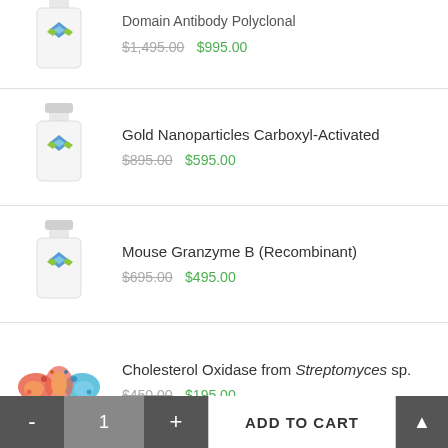[Figure (photo): Product bottle with blue/green diamond logo - item 1 (partially visible at top)]
Domain Antibody Polyclonal (partially visible)
$1,495.00 $995.00
[Figure (photo): Product bottle with blue/green diamond logo - Gold Nanoparticles]
Gold Nanoparticles Carboxyl-Activated
$895.00 $595.00
[Figure (photo): Product bottle with blue/green diamond logo - Mouse Granzyme B]
Mouse Granzyme B (Recombinant)
$695.00 $495.00
[Figure (photo): Molecular structure illustration of Cholesterol Oxidase enzyme]
Cholesterol Oxidase from Streptomyces sp.
$450.00 $195.00
[Figure (photo): Product bottle partially visible - Guanosine product]
Guanosine 5'-diphospho-β-L-fucose sodium
- 1 + ADD TO CART ▲